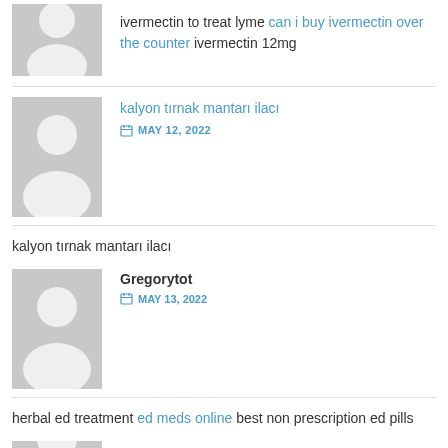ivermectin to treat lyme can i buy ivermectin over the counter ivermectin 12mg
[Figure (illustration): Gray avatar placeholder with silhouette of a person]
kalyon tırnak mantarı ilacı
MAY 12, 2022
kalyon tırnak mantarı ilacı
[Figure (illustration): Gray avatar placeholder with silhouette of a person]
Gregorytot
MAY 13, 2022
herbal ed treatment ed meds online best non prescription ed pills
[Figure (illustration): Gray avatar placeholder with silhouette of a person (partial)]
Gregorytot